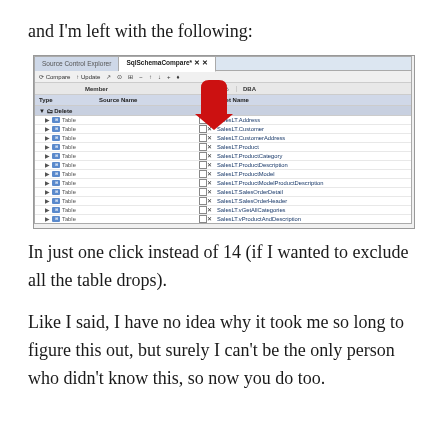and I'm left with the following:
[Figure (screenshot): SQL Schema Compare tool screenshot showing a list of items to delete (14 Table entries and 1 Schema entry) and one Change item (Procedure: dbo.dboGetIndexFragmentationInfo.p). A red arrow points to the checkbox column header area.]
In just one click instead of 14 (if I wanted to exclude all the table drops).
Like I said, I have no idea why it took me so long to figure this out, but surely I can't be the only person who didn't know this, so now you do too.